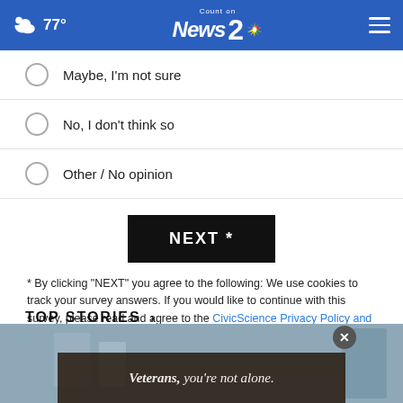77° Count on News 2 NBC
Maybe, I'm not sure
No, I don't think so
Other / No opinion
NEXT *
* By clicking "NEXT" you agree to the following: We use cookies to track your survey answers. If you would like to continue with this survey, please read and agree to the CivicScience Privacy Policy and Terms of Service
TOP STORIES ›
[Figure (photo): News image thumbnail with ad overlay reading 'Veterans, you're not alone.']